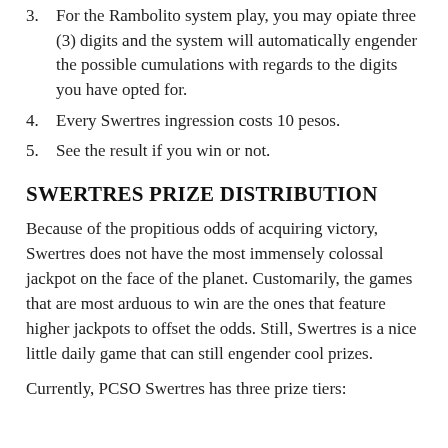3. For the Rambolito system play, you may opiate three (3) digits and the system will automatically engender the possible cumulations with regards to the digits you have opted for.
4. Every Swertres ingression costs 10 pesos.
5. See the result if you win or not.
SWERTRES PRIZE DISTRIBUTION
Because of the propitious odds of acquiring victory, Swertres does not have the most immensely colossal jackpot on the face of the planet. Customarily, the games that are most arduous to win are the ones that feature higher jackpots to offset the odds. Still, Swertres is a nice little daily game that can still engender cool prizes.
Currently, PCSO Swertres has three prize tiers: